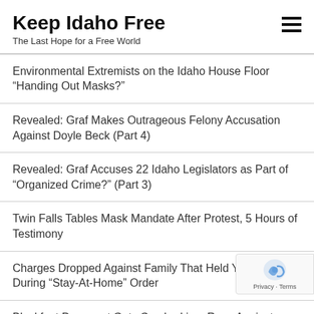Keep Idaho Free
The Last Hope for a Free World
Environmental Extremists on the Idaho House Floor “Handing Out Masks?”
Revealed: Graf Makes Outrageous Felony Accusation Against Doyle Beck (Part 4)
Revealed: Graf Accuses 22 Idaho Legislators as Part of “Organized Crime?” (Part 3)
Twin Falls Tables Mask Mandate After Protest, 5 Hours of Testimony
Charges Dropped Against Family That Held Yard Sale During “Stay-At-Home” Order
Blackfoot Democrat Gets Crushed in a Race Against Rep…